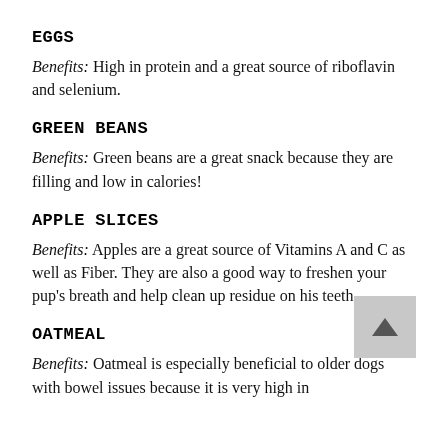EGGS
Benefits: High in protein and a great source of riboflavin and selenium.
GREEN BEANS
Benefits: Green beans are a great snack because they are filling and low in calories!
APPLE SLICES
Benefits: Apples are a great source of Vitamins A and C as well as Fiber. They are also a good way to freshen your pup's breath and help clean up residue on his teeth.
OATMEAL
Benefits: Oatmeal is especially beneficial to older dogs with bowel issues because it is very high in